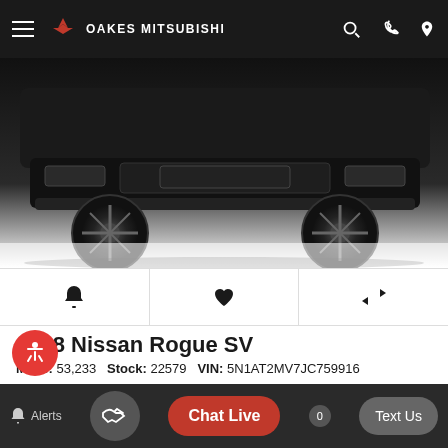OAKES MITSUBISHI
[Figure (photo): Front lower view of a black Nissan Rogue SUV on white background]
2018 Nissan Rogue SV
Miles: 53,233   Stock: 22579   VIN: 5N1AT2MV7JC759916
Market Value: $24,000
Combined Incentives: $1,000
Sales Price: $23,000
Alerts | Chat Live | Text Us